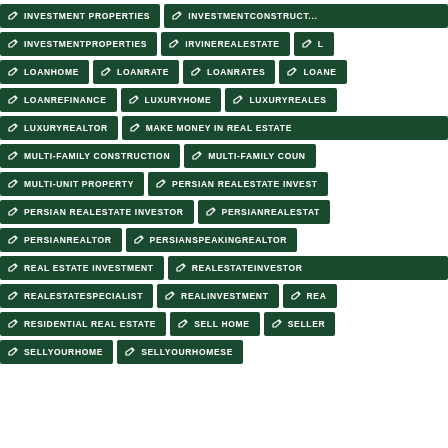INVESTMENT PROPERTIES
INVESTMENTCONSTRUCTION
INVESTMENTPROPERTIES
IRVINEREALESTATE
L...
LOANHOME
LOANRATE
LOANRATES
LOANE...
LOANREFINANCE
LUXURYHOME
LUXURYREALES...
LUXURYREALTOR
MAKE MONEY IN REAL ESTATE
MULTI-FAMILY CONSTRUCTION
MULTI-FAMILY COUN...
MULTI-UNIT PROPERTY
PERSIAN REALESTATE INVEST...
PERSIAN REALESTATE INVESTOR
PERSIANREALESTAT...
PERSIANREALTOR
PERSIANSPEAKINGREALTOR
REAL ESTATE INVESTMENT
REALESTATEINVESTOR
REALESTATESPECIALIST
REALINVESTMENT
REA...
RESIDENTIAL REAL ESTATE
SELL HOME
SELLER
SELLYOURHOME
SELLYOURHOMESE